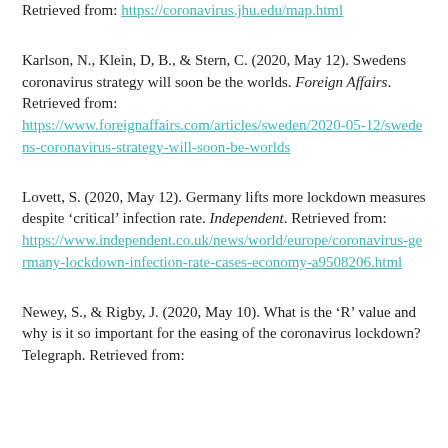Retrieved from: https://coronavirus.jhu.edu/map.html
Karlson, N., Klein, D, B., & Stern, C. (2020, May 12). Swedens coronavirus strategy will soon be the worlds. Foreign Affairs. Retrieved from: https://www.foreignaffairs.com/articles/sweden/2020-05-12/swedens-coronavirus-strategy-will-soon-be-worlds
Lovett, S. (2020, May 12). Germany lifts more lockdown measures despite ‘critical’ infection rate. Independent. Retrieved from: https://www.independent.co.uk/news/world/europe/coronavirus-germany-lockdown-infection-rate-cases-economy-a9508206.html
Newey, S., & Rigby, J. (2020, May 10). What is the ‘R’ value and why is it so important for the easing of the coronavirus lockdown? Telegraph. Retrieved from: